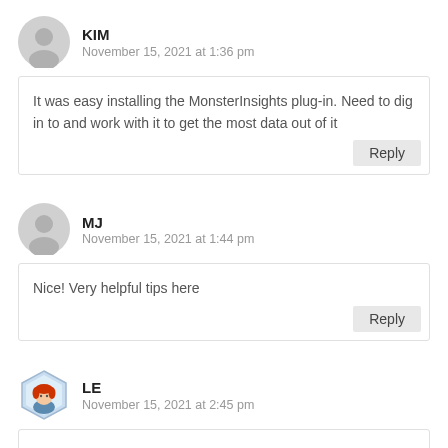KIM
November 15, 2021 at 1:36 pm
It was easy installing the MonsterInsights plug-in. Need to dig in to and work with it to get the most data out of it
MJ
November 15, 2021 at 1:44 pm
Nice! Very helpful tips here
LE
November 15, 2021 at 2:45 pm